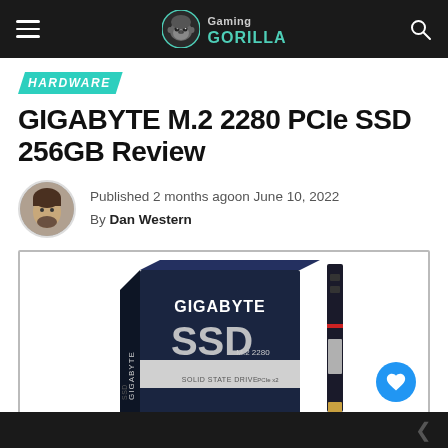Gaming Gorilla
HARDWARE
GIGABYTE M.2 2280 PCIe SSD 256GB Review
Published 2 months agoon June 10, 2022
By Dan Western
[Figure (photo): GIGABYTE M.2 2280 PCIe SSD product box and SSD stick on white background]